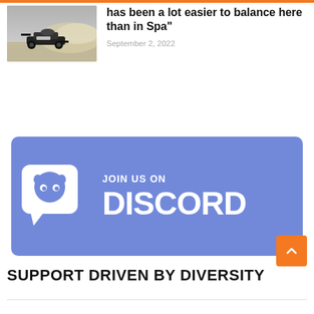[Figure (photo): Racing car in dusty/sandy conditions, black and white tones]
has been a lot easier to balance here than in Spa"
September 2, 2022
[Figure (infographic): Join us on Discord banner with Discord logo on blue/purple background]
[Figure (other): Orange back-to-top button with upward chevron arrow]
SUPPORT DRIVEN BY DIVERSITY